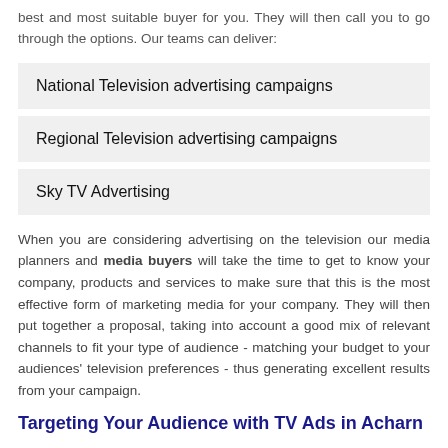best and most suitable buyer for you. They will then call you to go through the options. Our teams can deliver:
National Television advertising campaigns
Regional Television advertising campaigns
Sky TV Advertising
When you are considering advertising on the television our media planners and media buyers will take the time to get to know your company, products and services to make sure that this is the most effective form of marketing media for your company. They will then put together a proposal, taking into account a good mix of relevant channels to fit your type of audience - matching your budget to your audiences' television preferences - thus generating excellent results from your campaign.
Targeting Your Audience with TV Ads in Acharn